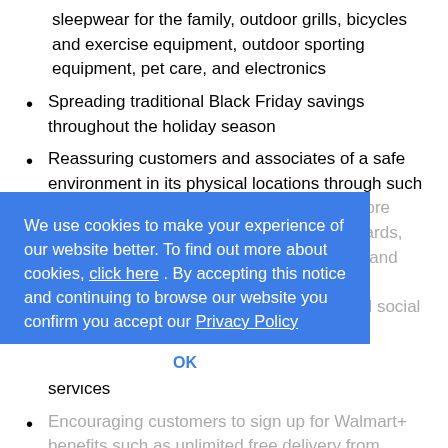sleepwear for the family, outdoor grills, bicycles and exercise equipment, outdoor sporting equipment, pet care, and electronics
Spreading traditional Black Friday savings throughout the holiday season
Reassuring customers and associates of a safe environment in its physical locations through such previously instituted policies as reduced store hours, required face coverings, sneeze guards, vestibules divided into separate entrances and exits, social-distancing floor decals, and announcements urging proper hygiene and social distancing
Touting its contactless pickup and delivery services
Encouraging customers to sign up for Walmart+ benefits such as unlimited free delivery from stores, fuel discounts, and access to tools like Scan & Go, which enables customers to scan their
We use cookies to make your experience of our website better. To find out more about cookies, click here. By accepting this notice and continuing to browse our website you confirm you accept our Privacy Policy